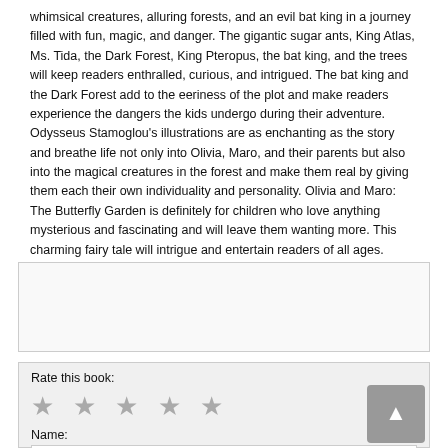whimsical creatures, alluring forests, and an evil bat king in a journey filled with fun, magic, and danger. The gigantic sugar ants, King Atlas, Ms. Tida, the Dark Forest, King Pteropus, the bat king, and the trees will keep readers enthralled, curious, and intrigued. The bat king and the Dark Forest add to the eeriness of the plot and make readers experience the dangers the kids undergo during their adventure. Odysseus Stamoglou's illustrations are as enchanting as the story and breathe life not only into Olivia, Maro, and their parents but also into the magical creatures in the forest and make them real by giving them each their own individuality and personality. Olivia and Maro: The Butterfly Garden is definitely for children who love anything mysterious and fascinating and will leave them wanting more. This charming fairy tale will intrigue and entertain readers of all ages.
[Figure (other): Empty bordered box section]
Rate this book:
[Figure (other): Five grey star rating icons]
Name:
[Figure (other): Text input box for name]
[Figure (other): Grey scroll-to-top button with upward arrow]